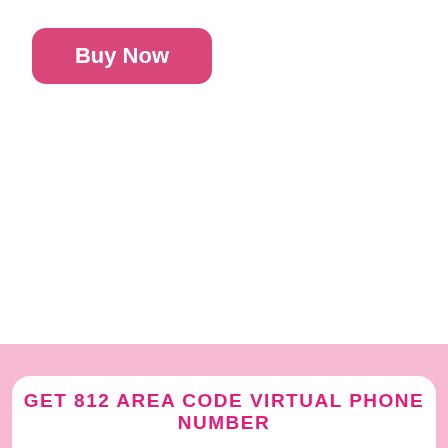[Figure (other): Pink rounded rectangle button labeled 'Buy Now' in white bold text]
GET 812 AREA CODE VIRTUAL PHONE NUMBER